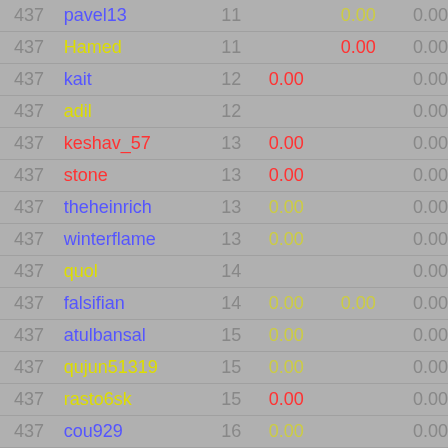| rank | name | num | val1 | val2 | last |
| --- | --- | --- | --- | --- | --- |
| 437 | pavel13 | 11 |  | 0.00 | 0.00 |
| 437 | Hamed | 11 |  | 0.00 | 0.00 |
| 437 | kait | 12 | 0.00 |  | 0.00 |
| 437 | adil | 12 |  |  | 0.00 |
| 437 | keshav_57 | 13 | 0.00 |  | 0.00 |
| 437 | stone | 13 | 0.00 |  | 0.00 |
| 437 | theheinrich | 13 | 0.00 |  | 0.00 |
| 437 | winterflame | 13 | 0.00 |  | 0.00 |
| 437 | quol | 14 |  |  | 0.00 |
| 437 | falsifian | 14 | 0.00 | 0.00 | 0.00 |
| 437 | atulbansal | 15 | 0.00 |  | 0.00 |
| 437 | qujun51319 | 15 | 0.00 |  | 0.00 |
| 437 | rasto6sk | 15 | 0.00 |  | 0.00 |
| 437 | cou929 | 16 | 0.00 |  | 0.00 |
| 437 | allie | 16 | 0.00 |  | 0.00 |